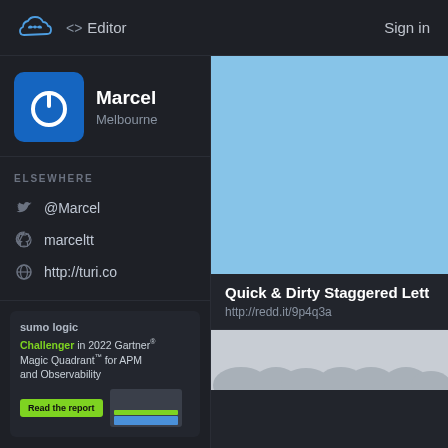<> Editor   Sign in
[Figure (logo): Cloud infinity loop logo in blue outline on dark background]
[Figure (logo): Marcel profile icon - blue square with white power button symbol]
Marcel
Melbourne
ELSEWHERE
@Marcel
marceltt
http://turi.co
[Figure (infographic): Sumo Logic advertisement - Challenger in 2022 Gartner Magic Quadrant for APM and Observability]
[Figure (photo): Light blue/sky blue image preview area]
Quick & Dirty Staggered Lett
http://redd.it/9p4q3a
[Figure (photo): Second preview image with grey/cloud-like shapes]